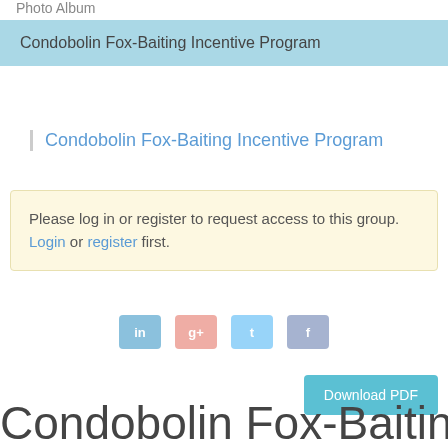Photo Album
Condobolin Fox-Baiting Incentive Program
Condobolin Fox-Baiting Incentive Program
Please log in or register to request access to this group. Login or register first.
[Figure (other): Social media sharing icons: LinkedIn, Google+, Twitter, Facebook — shown faded/greyed out]
Download PDF
Condobolin Fox-Baiting